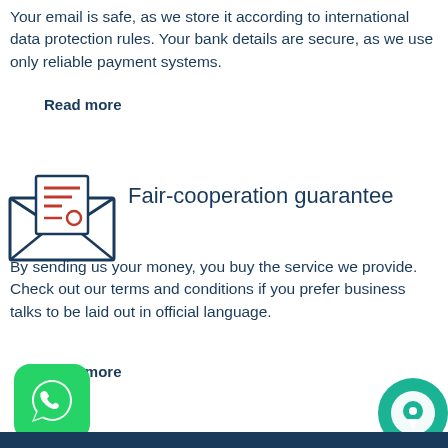Your email is safe, as we store it according to international data protection rules. Your bank details are secure, as we use only reliable payment systems.
Read more
[Figure (illustration): An envelope icon with a document inside, drawn in dark navy outline with red horizontal lines on the document and a red circle, representing correspondence or fair-cooperation.]
Fair-cooperation guarantee
By sending us your money, you buy the service we provide. Check out our terms and conditions if you prefer business talks to be laid out in official language.
Read more
[Figure (logo): WhatsApp green rounded square button icon with white phone handset in speech bubble.]
[Figure (logo): Chat bubble green circle button icon with white chat dot symbol.]